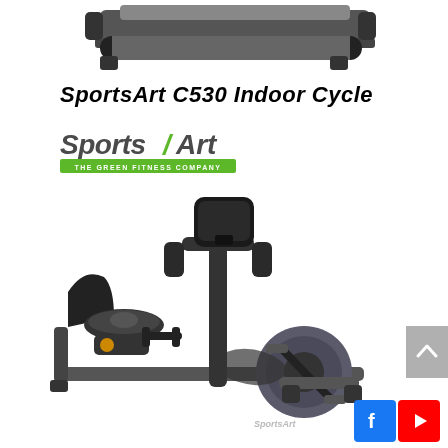[Figure (photo): Partial top view of a SportsArt indoor cycle / treadmill equipment on white background]
SportsArt C530 Indoor Cycle
[Figure (logo): SportsArt logo - green text 'Sports/Art' with tagline 'THE GREEN FITNESS COMPANY' in green bar]
[Figure (photo): SportsArt recumbent exercise bike, dark grey and black, with monitor, padded seat, handlebars, and pedals, displayed on white background. SportsArt branding visible.]